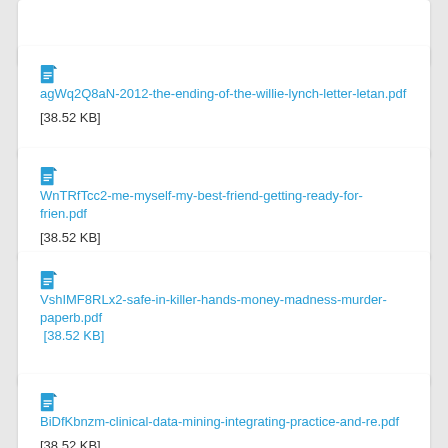[partial card top]
agWq2Q8aN-2012-the-ending-of-the-willie-lynch-letter-letan.pdf [38.52 KB]
WnTRfTcc2-me-myself-my-best-friend-getting-ready-for-frien.pdf [38.52 KB]
VshIMF8RLx2-safe-in-killer-hands-money-madness-murder-paperb.pdf [38.52 KB]
BiDfKbnzm-clinical-data-mining-integrating-practice-and-re.pdf [38.52 KB]